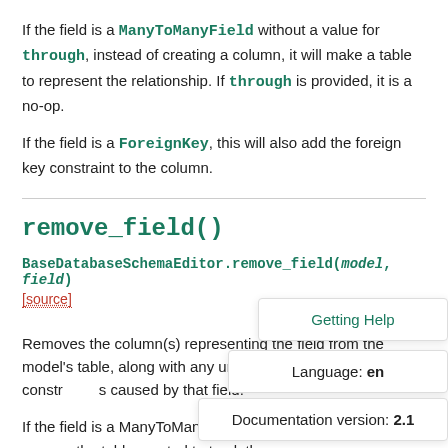If the field is a ManyToManyField without a value for through, instead of creating a column, it will make a table to represent the relationship. If through is provided, it is a no-op.
If the field is a ForeignKey, this will also add the foreign key constraint to the column.
remove_field()
BaseDatabaseSchemaEditor.remove_field(model, field)
[source]
Removes the column(s) representing the field from the model's table, along with any unique constraints, foreign key constraints caused by that field.
If the field is a ManyToManyField without a value for through, remove the table created to track the relationship. If through is provided, it is a no-op.